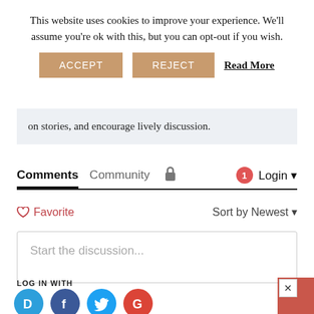This website uses cookies to improve your experience. We'll assume you're ok with this, but you can opt-out if you wish.
ACCEPT   REJECT   Read More
on stories, and encourage lively discussion.
Comments   Community   🔒   1   Login
♡ Favorite   Sort by Newest
Start the discussion...
LOG IN WITH
[Figure (infographic): Social login icons: Disqus (blue circle with D), Facebook (dark blue circle with f), Twitter (light blue circle with bird), Google (red circle with G)]